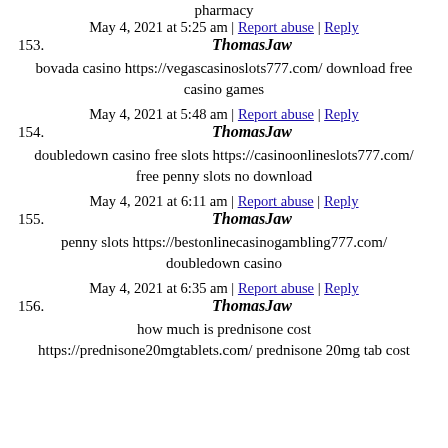pharmacy
153. May 4, 2021 at 5:25 am | Report abuse | Reply
ThomasJaw
bovada casino https://vegascasinoslots777.com/ download free casino games
154. May 4, 2021 at 5:48 am | Report abuse | Reply
ThomasJaw
doubledown casino free slots https://casinoonlineslots777.com/ free penny slots no download
155. May 4, 2021 at 6:11 am | Report abuse | Reply
ThomasJaw
penny slots https://bestonlinecasinogambling777.com/ doubledown casino
156. May 4, 2021 at 6:35 am | Report abuse | Reply
ThomasJaw
how much is prednisone cost https://prednisone20mgtablets.com/ prednisone 20mg tab cost